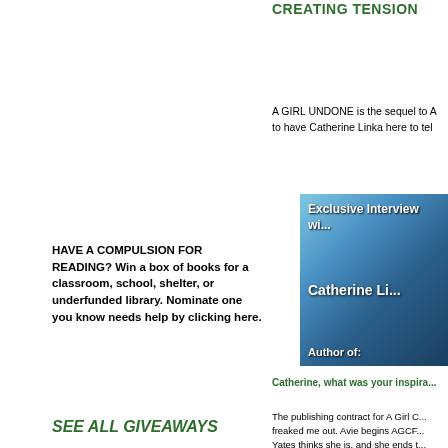CREATING TENSION
A GIRL UNDONE is the sequel to A... to have Catherine Linka here to tel...
[Figure (photo): Exclusive Interview with Catherine Li... Author of: — book cover or promotional image with blue crystalline/ice background]
Catherine, what was your inspira...
The publishing contract for A Girl C... freaked me out. Avie begins AGCF... Yates thinks she is, and she ends t... what the hell her character arc wou...
But then, in a weird, serendipitous... Whisperer, Martha Alderson, Midd...
HAVE A COMPULSION FOR READING? Win a box of books for a classroom, school, shelter, or underfunded library. Nominate one you know needs help by clicking here.
SEE ALL GIVEAWAYS
A WRITER'S DIGEST 101 BEST WEBSITE